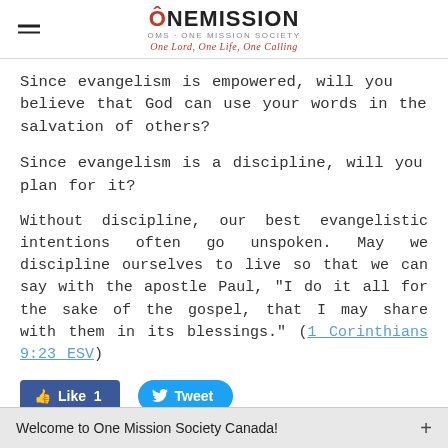ÔNEMISSION OMS · ONE MISSION SOCIETY One Lord, One Life, One Calling
Since evangelism is empowered, will you believe that God can use your words in the salvation of others?
Since evangelism is a discipline, will you plan for it?
Without discipline, our best evangelistic intentions often go unspoken. May we discipline ourselves to live so that we can say with the apostle Paul, "I do it all for the sake of the gospel, that I may share with them in its blessings." (1 Corinthians 9:23 ESV)
[Figure (screenshot): Facebook Like button (count: 1) and Twitter Tweet button]
Welcome to One Mission Society Canada!